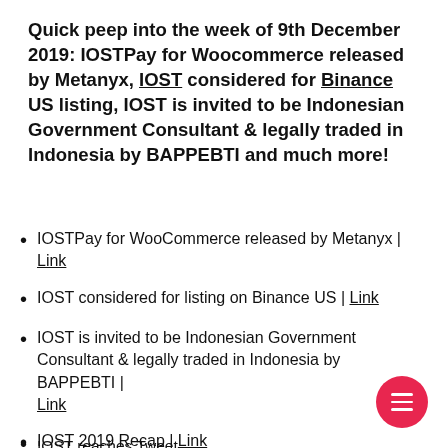Quick peep into the week of 9th December 2019: IOSTPay for Woocommerce released by Metanyx, IOST considered for Binance US listing, IOST is invited to be Indonesian Government Consultant & legally traded in Indonesia by BAPPEBTI and much more!
IOSTPay for WooCommerce released by Metanyx | Link
IOST considered for listing on Binance US | Link
IOST is invited to be Indonesian Government Consultant & legally traded in Indonesia by BAPPEBTI | Link
IOST 2019 Recap | Link
IOST reaches Tweet...